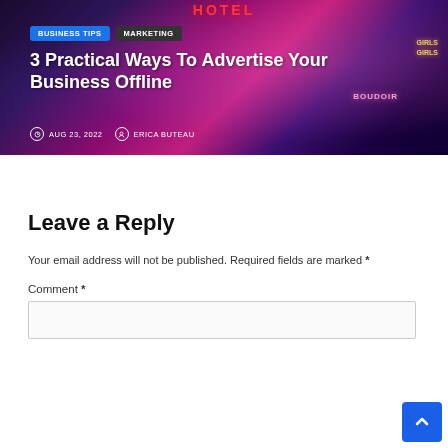[Figure (photo): Hero image of a neon-lit hotel/nightlife street scene with colorful signs. Shows tags 'BUSINESS TIPS' and 'MARKETING', title '3 Practical Ways To Advertise Your Business Offline', date 'AUG 23, 2022', and author 'ERICA BUTEAU'.]
Leave a Reply
Your email address will not be published. Required fields are marked *
Comment *